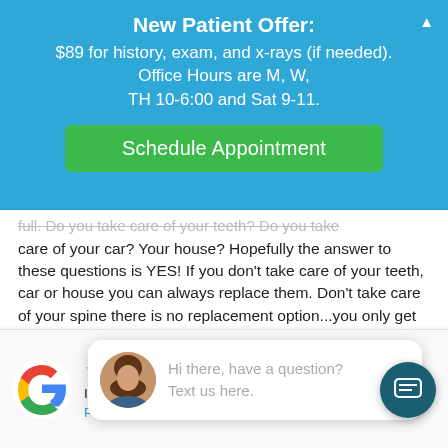New Patient Offer:
$89 for history, exam, and x-rays (if needed). Office Hours are M, W, TH 10-6:00 and Sat 9-11.
Schedule Appointment
full. Do you take care of your teeth? Do you take care of your car? Your house? Hopefully the answer to these questions is YES! If you don’t take care of your teeth, car or house you can always replace them. Don’t take care of your spine there is no replacement option...you only get one!!
If you need a ... area I would ...
[Figure (illustration): Chat bubble with female avatar and text: Hi there, have a question? Text us here.]
[Figure (logo): Google logo G multicolor]
I’ve tried many chiropractors and he is the BEST. More
Pashmina H